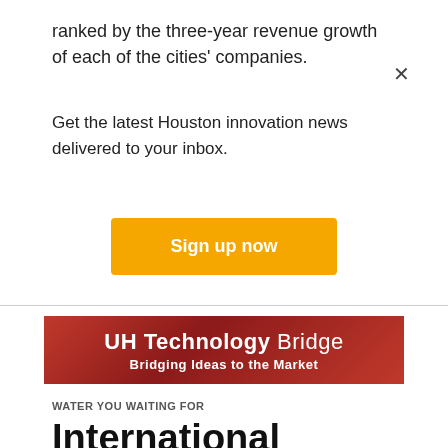ranked by the three-year revenue growth of each of the cities' companies.
Get the latest Houston innovation news delivered to your inbox.
[Figure (other): Sign up now button (orange/yellow CTA button)]
[Figure (logo): UH Technology Bridge - Bridging Ideas to the Market banner advertisement]
WATER YOU WAITING FOR
International botanical water company plans expansion into Houston